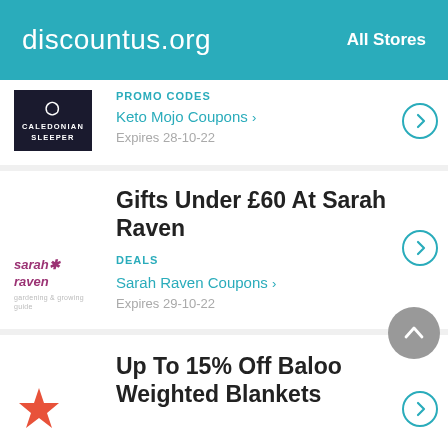discountus.org  All Stores
[Figure (logo): Caledonian Sleeper logo - dark background with white text]
PROMO CODES
Keto Mojo Coupons >
Expires 28-10-22
[Figure (logo): Sarah Raven logo in purple italic text with asterisk flower]
Gifts Under £60 At Sarah Raven
DEALS
Sarah Raven Coupons >
Expires 29-10-22
Up To 15% Off Baloo Weighted Blankets